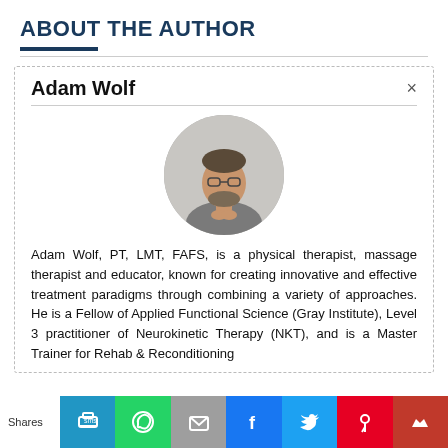ABOUT THE AUTHOR
Adam Wolf
[Figure (photo): Circular portrait photo of Adam Wolf, a man with glasses and a beard wearing a gray polo shirt, hands clasped, against a light gray background.]
Adam Wolf, PT, LMT, FAFS, is a physical therapist, massage therapist and educator, known for creating innovative and effective treatment paradigms through combining a variety of approaches. He is a Fellow of Applied Functional Science (Gray Institute), Level 3 practitioner of Neurokinetic Therapy (NKT), and is a Master Trainer for Rehab & Reconditioning
Shares [SMS] [WhatsApp] [Email] [Facebook] [Twitter] [Pinterest] [Crown]